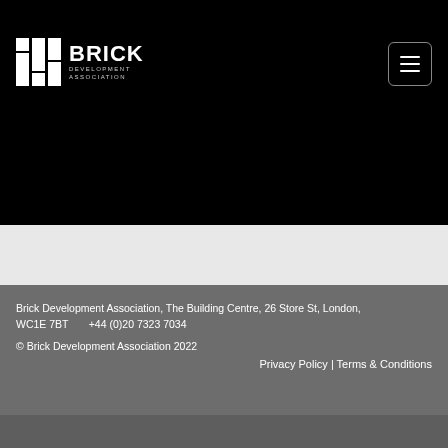[Figure (logo): Brick Development Association logo — three vertical brick-column icon in white on black background, beside text BRICK in large white bold letters and DEVELOPMENT ASSOCIATION in small grey letters]
Brick Development Association, The Building Centre, 26 Store St, London, WC1E 7BT     +44 (0)20 7323 7034
© Brick Development Association 2022
Privacy Policy | Terms & Conditions